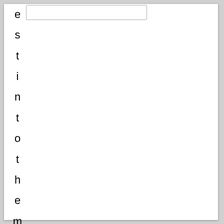est in to the market and perfor